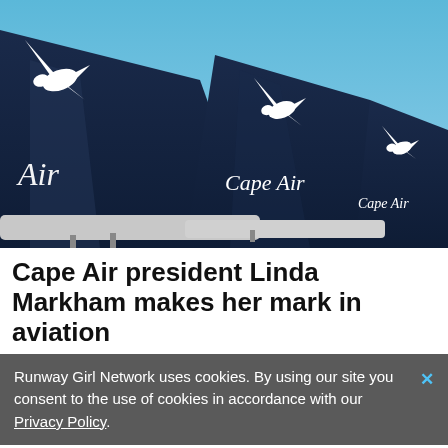[Figure (photo): Three Cape Air aircraft tail fins on a tarmac against a blue sky. The dark navy tails display a white bird logo and the text 'Cape Air' in white cursive lettering. Trees are visible in the background on the right.]
Cape Air president Linda Markham makes her mark in aviation
Runway Girl Network uses cookies. By using our site you consent to the use of cookies in accordance with our Privacy Policy.